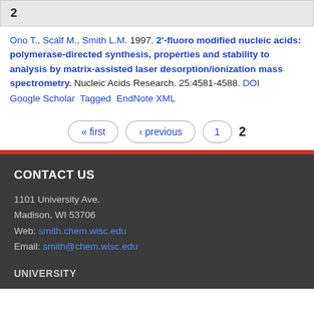2
Ono T., Scalf M., Smith L.M.  1997.  2'-fluoro modified nucleic acids: polymerase-directed synthesis, properties and stability to analysis by matrix-assisted laser desorption/ionization mass spectrometry. Nucleic Acids Research. 25:4581-4588. DOI Google Scholar Tagged EndNote XML
« first  ‹ previous  1  2
CONTACT US
1101 University Ave.
Madison, WI 53706
Web: smith.chem.wisc.edu
Email: smith@chem.wisc.edu
UNIVERSITY